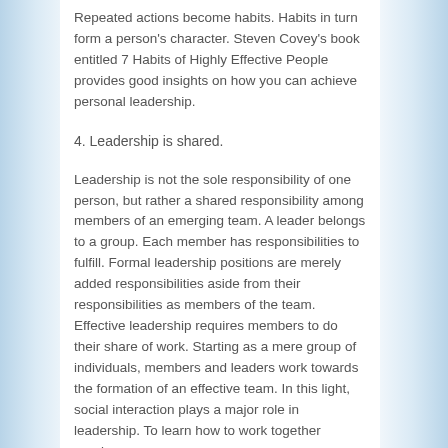Repeated actions become habits. Habits in turn form a person's character. Steven Covey's book entitled 7 Habits of Highly Effective People provides good insights on how you can achieve personal leadership.
4. Leadership is shared.
Leadership is not the sole responsibility of one person, but rather a shared responsibility among members of an emerging team. A leader belongs to a group. Each member has responsibilities to fulfill. Formal leadership positions are merely added responsibilities aside from their responsibilities as members of the team. Effective leadership requires members to do their share of work. Starting as a mere group of individuals, members and leaders work towards the formation of an effective team. In this light, social interaction plays a major role in leadership. To learn how to work together requires a